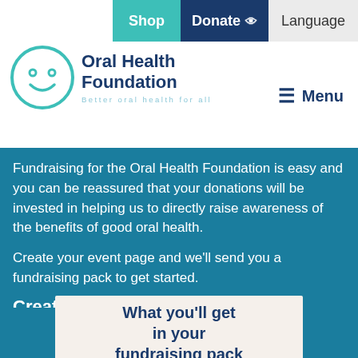Shop | Donate | Language | Menu
[Figure (logo): Oral Health Foundation logo — circular smiley face icon in teal outline, beside text 'Oral Health Foundation' in dark navy blue, with tagline 'Better oral health for all' in light teal spaced lettering]
Fundraising for the Oral Health Foundation is easy and you can be reassured that your donations will be invested in helping us to directly raise awareness of the benefits of good oral health.
Create your event page and we'll send you a fundraising pack to get started.
Create a fundraising page
What you'll get in your fundraising pack